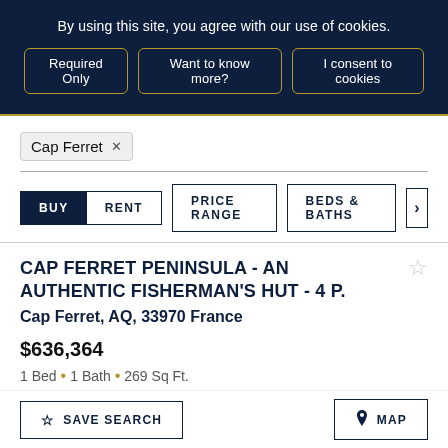By using this site, you agree with our use of cookies.
Required Only
Want to know more?
I consent to cookies
Cap Ferret  ×
BUY
RENT
PRICE RANGE
BEDS & BATHS
CAP FERRET PENINSULA - AN AUTHENTIC FISHERMAN'S HUT - 4 P.
Cap Ferret, AQ, 33970 France
$636,364
1 Bed • 1 Bath • 269 Sq Ft.
Marketed By Cap Ferret Pyla Sotheby's International Realty
☆ SAVE SEARCH
⊙ MAP